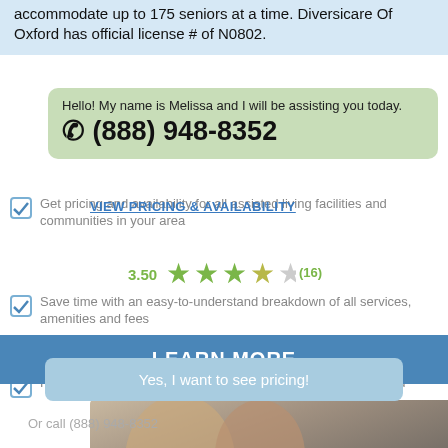accommodate up to 175 seniors at a time. Diversicare Of Oxford has official license # of N0802.
Hello! My name is Melissa and I will be assisting you today.  (888) 948-8352
VIEW PRICING & AVAILABILITY
Get pricing and availability for all assisted living facilities and communities in your area
[Figure (other): Star rating showing 3.50 out of 5 stars with 16 reviews]
Save time with an easy-to-understand breakdown of all services, amenities and fees
LEARN MORE
Find the senior living facility or community that is perfect for you
Yes, I want to see pricing!
Or call (888) 948-8352
[Figure (photo): Photo of a caregiver and elderly man smiling together]